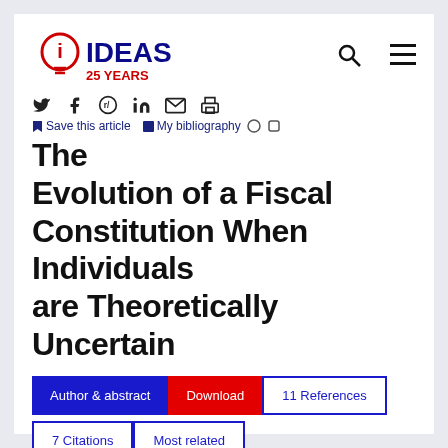[Figure (logo): IDEAS 25 YEARS logo with lightbulb icon in red and blue]
[Figure (infographic): Social media icons: Twitter, Facebook, Reddit, LinkedIn, Email, Print]
Save this article   My bibliography
The Evolution of a Fiscal Constitution When Individuals are Theoretically Uncertain
Author & abstract | Download | 11 References | 7 Citations | Most related | Related works & more | Corrections
Author